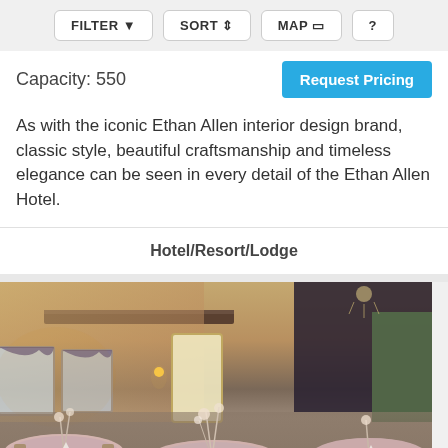FILTER  SORT  MAP  ?
Capacity: 550
Request Pricing
As with the iconic Ethan Allen interior design brand, classic style, beautiful craftsmanship and timeless elegance can be seen in every detail of the Ethan Allen Hotel.
Hotel/Resort/Lodge
[Figure (photo): Interior of Ethan Allen Hotel banquet hall set up for a wedding reception with round tables covered in floral linens, chiavari chairs, floral centerpieces, and warm ambient lighting.]